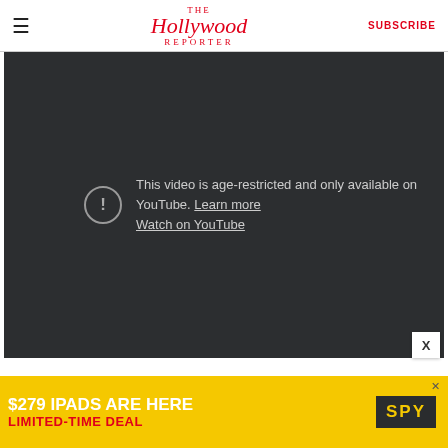The Hollywood Reporter — SUBSCRIBE
[Figure (screenshot): YouTube age-restricted video embed with dark background showing message: 'This video is age-restricted and only available on YouTube. Learn more. Watch on YouTube.']
[Figure (screenshot): Advertisement banner: '$279 IPADS ARE HERE LIMITED-TIME DEAL' with SPY logo on yellow background]